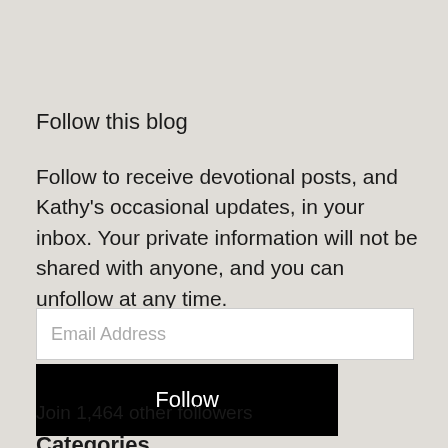Follow this blog
Follow to receive devotional posts, and Kathy's occasional updates, in your inbox. Your private information will not be shared with anyone, and you can unfollow at any time.
Email Address
Follow
Join 1,464 other followers
Categories